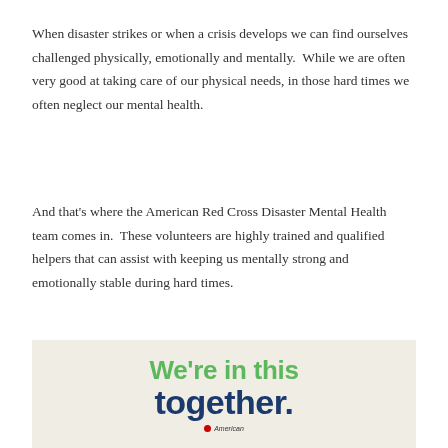When disaster strikes or when a crisis develops we can find ourselves challenged physically, emotionally and mentally.  While we are often very good at taking care of our physical needs, in those hard times we often neglect our mental health.
And that's where the American Red Cross Disaster Mental Health team comes in.  These volunteers are highly trained and qualified helpers that can assist with keeping us mentally strong and emotionally stable during hard times.
[Figure (infographic): American Red Cross promotional image with beige background. Text reads 'We're in this together.' in two lines — 'We're in this' in green, 'together.' in dark navy blue. American Red Cross logo partially visible at bottom.]